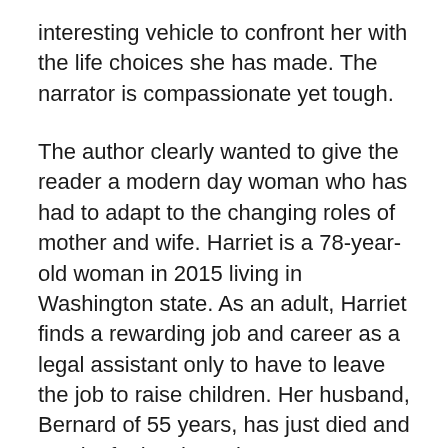interesting vehicle to confront her with the life choices she has made. The narrator is compassionate yet tough.
The author clearly wanted to give the reader a modern day woman who has had to adapt to the changing roles of mother and wife. Harriet is a 78-year-old woman in 2015 living in Washington state. As an adult, Harriet finds a rewarding job and career as a legal assistant only to have to leave the job to raise children. Her husband, Bernard of 55 years, has just died and Harriet feels a huge loss. However, Bernard had severe dementia at the end and he often railed against Harriet, or whoever he thought she might be. At times